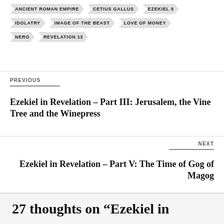ANCIENT ROMAN EMPIRE
CETIUS GALLUS
EZEKIEL 8
IDOLATRY
IMAGE OF THE BEAST
LOVE OF MONEY
NERO
REVELATION 13
PREVIOUS
Ezekiel in Revelation – Part III: Jerusalem, the Vine Tree and the Winepress
NEXT
Ezekiel in Revelation – Part V: The Time of Gog of Magog
27 thoughts on “Ezekiel in